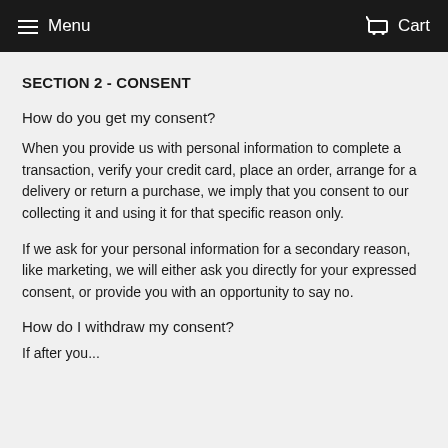Menu  Cart
SECTION 2 - CONSENT
How do you get my consent?
When you provide us with personal information to complete a transaction, verify your credit card, place an order, arrange for a delivery or return a purchase, we imply that you consent to our collecting it and using it for that specific reason only.
If we ask for your personal information for a secondary reason, like marketing, we will either ask you directly for your expressed consent, or provide you with an opportunity to say no.
How do I withdraw my consent?
If after you...